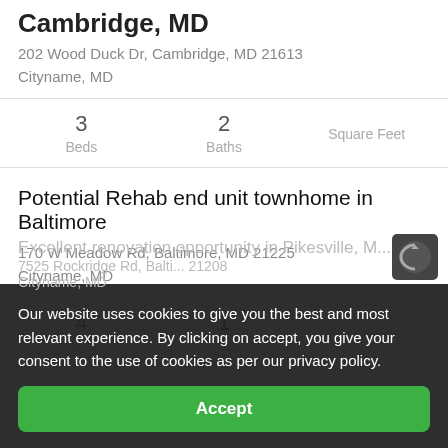Cambridge, MD
202 Wood Duck Dr, Cambridge, MD 21613
Cityname, MD
| Beds | Baths | Square Feet |
| --- | --- | --- |
| 3 | 2 |  |
Potential Rehab end unit townhome in Baltimore
170 W Meadow Rd, Baltimore, MD 21225
Cityname, MD
| Beds | Baths | Square Feet |
| --- | --- | --- |
| 4 | 1 |  |
Excellent renovation opportunity in Pikesville, M...
7525 Rockridge Rd, Baltimore... 21208
Cityname, MD
Our website uses cookies to give you the best and most relevant experience. By clicking on accept, you give your consent to the use of cookies as per our privacy policy.